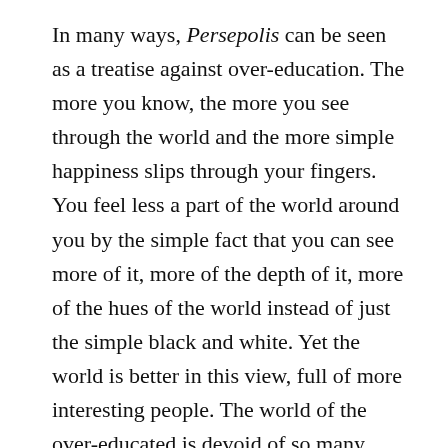In many ways, Persepolis can be seen as a treatise against over-education. The more you know, the more you see through the world and the more simple happiness slips through your fingers. You feel less a part of the world around you by the simple fact that you can see more of it, more of the depth of it, more of the hues of the world instead of just the simple black and white. Yet the world is better in this view, full of more interesting people. The world of the over-educated is devoid of so many enemies and overflowing with stories, stories from everywhere, stories from everyone. In the end, Persepolis is also a reification of storytelling, not without, but in spite of ideology. If we can wrestle ourselves out of the stranglehold that Spivak argues suffocated the Western critic, then we get a little close to that Technicolored